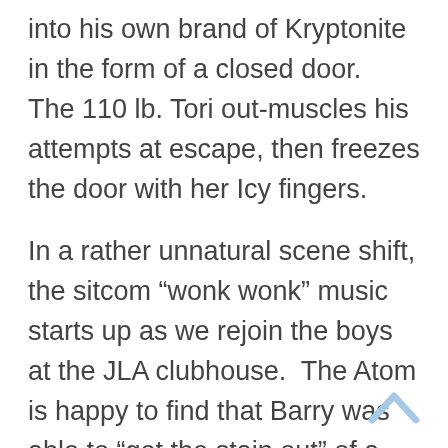into his own brand of Kryptonite in the form of a closed door.  The 110 lb. Tori out-muscles his attempts at escape, then freezes the door with her Icy fingers.
In a rather unnatural scene shift, the sitcom “wonk wonk” music starts up as we rejoin the boys at the JLA clubhouse.  The Atom is happy to find that Barry was able to “get the stain out” of a piece of his apparel… which is unsettling at best.  Moments later Tori comes a’knockin’ and she spills the beans on Eno Ferrer’s true nefarious ambition… and hands over a